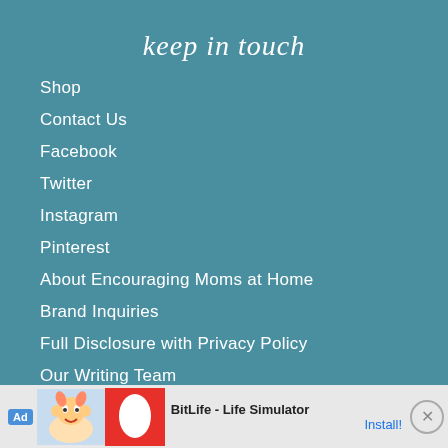keep in touch
Shop
Contact Us
Facebook
Twitter
Instagram
Pinterest
About Encouraging Moms at Home
Brand Inquiries
Full Disclosure with Privacy Policy
Our Writing Team
[Figure (other): Advertisement banner for BitLife - Life Simulator app with cartoon character and install button]